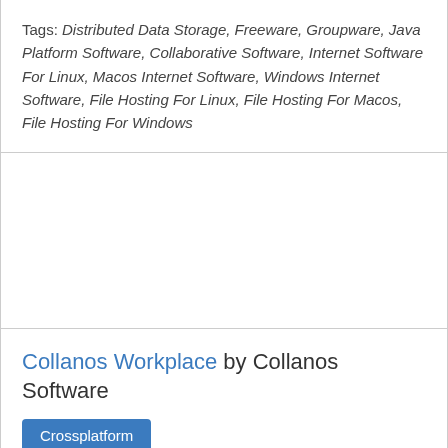Tags: Distributed Data Storage, Freeware, Groupware, Java Platform Software, Collaborative Software, Internet Software For Linux, Macos Internet Software, Windows Internet Software, File Hosting For Linux, File Hosting For Macos, File Hosting For Windows
Collanos Workplace by Collanos Software
Crossplatform
Collanos Workplace is a proprietary teamwork software that ceased development in 2010. Installed on each team member's computer, it builds a team environment and transparent knowledge store that...
Latest version of Collanos Workplace is 1.4 and it was released on 2008-12-11.